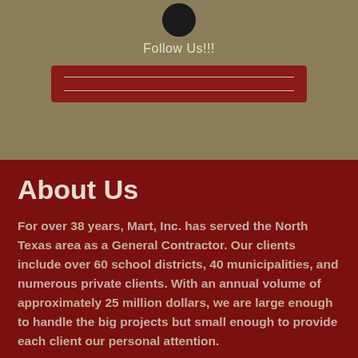Follow Us!!!
About Us
For over 38 years, Mart, Inc. has served the North Texas area as a General Contractor. Our clients include over 60 school districts, 40 municipalities, and numerous private clients. With an annual volume of approximately 25 million dollars, we are large enough to handle the big projects but small enough to provide each client our personal attention.